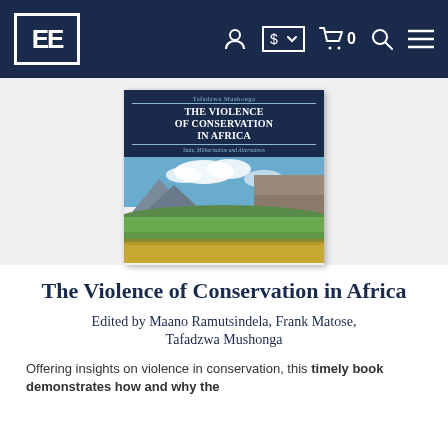EE [Elgar logo] navigation bar with account, currency, cart (0), search, and menu icons
[Figure (photo): Book cover of 'The Violence of Conservation in Africa: State, Militarisation and Alternatives' by Tafadzwa Mushonga, featuring a landscape photograph of mountains with green fields and a blue sky.]
The Violence of Conservation in Africa
Edited by Maano Ramutsindela, Frank Matose, Tafadzwa Mushonga
Offering insights on violence in conservation, this timely book demonstrates how and why the